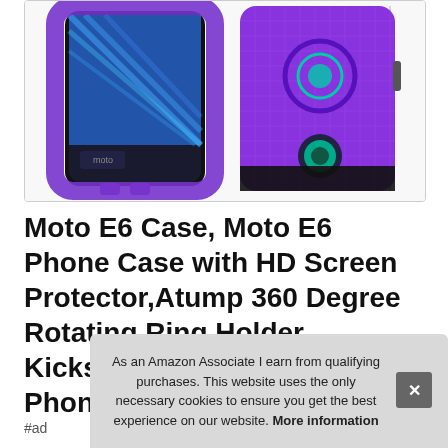[Figure (photo): Product photo of a purple Moto E6 phone case with ring holder kickstand, shown from front and back angles on a white background]
Moto E6 Case, Moto E6 Phone Case with HD Screen Protector,Atump 360 Degree Rotating Ring Holder Kickstand Bracket Cover Phone Case for Mo
#ad
As an Amazon Associate I earn from qualifying purchases. This website uses the only necessary cookies to ensure you get the best experience on our website. More information